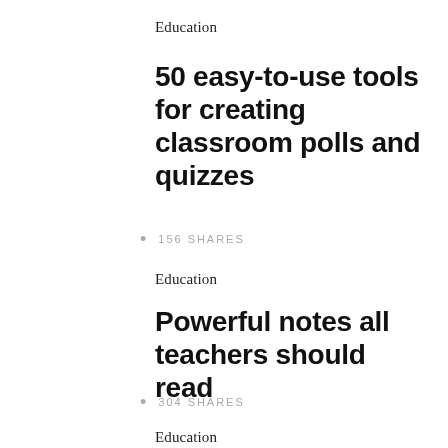Education
50 easy-to-use tools for creating classroom polls and quizzes
156 SHARES
Education
Powerful notes all teachers should read
304 SHARES
Education